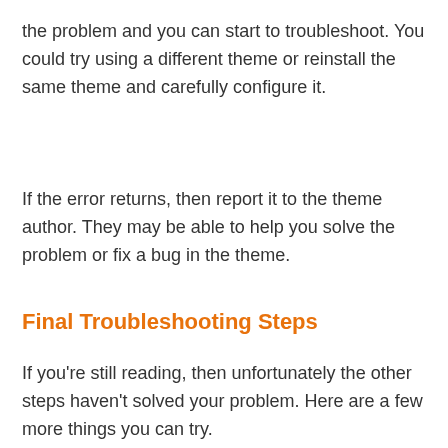the problem and you can start to troubleshoot. You could try using a different theme or reinstall the same theme and carefully configure it.
If the error returns, then report it to the theme author. They may be able to help you solve the problem or fix a bug in the theme.
Final Troubleshooting Steps
If you're still reading, then unfortunately the other steps haven't solved your problem. Here are a few more things you can try.
Check Error Log
You may be able to check an error log for clues about what went wrong. Your hosting provider may